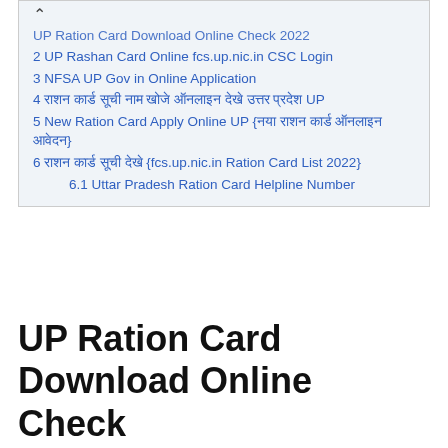UP Ration Card Download Online Check 2022
2 UP Rashan Card Online fcs.up.nic.in CSC Login
3 NFSA UP Gov in Online Application
4 राशन कार्ड सूची नाम खोजे ऑनलाइन देखे उत्तर प्रदेश UP
5 New Ration Card Apply Online UP {नया राशन कार्ड ऑनलाइन आवेदन}
6 राशन कार्ड सूची देखे {fcs.up.nic.in Ration Card List 2022}
6.1 Uttar Pradesh Ration Card Helpline Number
UP Ration Card Download Online Check 2022